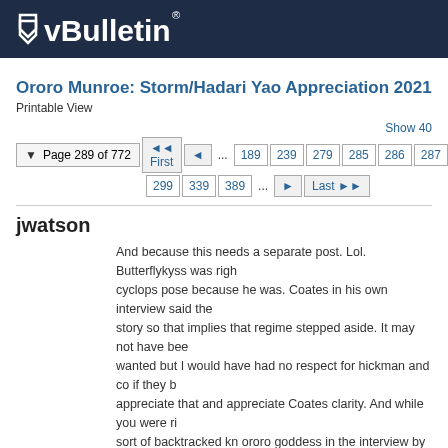vBulletin
Ororo Munroe: Storm/Hadari Yao Appreciation 2021
Printable View
Show 40
Page 289 of 772  First  ...  189  239  279  285  286  287  288  299  339  389  ...  Last
jwatson
And because this needs a separate post. Lol. Butterflykyss was right cyclops pose because he was. Coates in his own interview said the story so that implies that regime stepped aside. It may not have bee wanted but I would have had no respect for hickman and co if they b appreciate that and appreciate Coates clarity. And while you were ri sort of backtracked kn ororo goddess in the interview by saying she addressing the godhood directly. So on that I will say he is more of t
butterflykyss